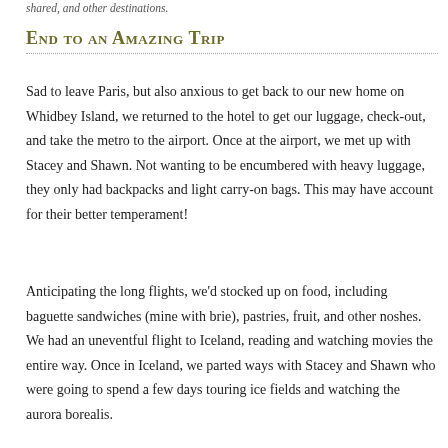…shared, and other destinations.
End to an Amazing Trip
Sad to leave Paris, but also anxious to get back to our new home on Whidbey Island, we returned to the hotel to get our luggage, check-out, and take the metro to the airport. Once at the airport, we met up with Stacey and Shawn. Not wanting to be encumbered with heavy luggage, they only had backpacks and light carry-on bags. This may have account for their better temperament!
Anticipating the long flights, we'd stocked up on food, including baguette sandwiches (mine with brie), pastries, fruit, and other noshes. We had an uneventful flight to Iceland, reading and watching movies the entire way. Once in Iceland, we parted ways with Stacey and Shawn who were going to spend a few days touring ice fields and watching the aurora borealis.